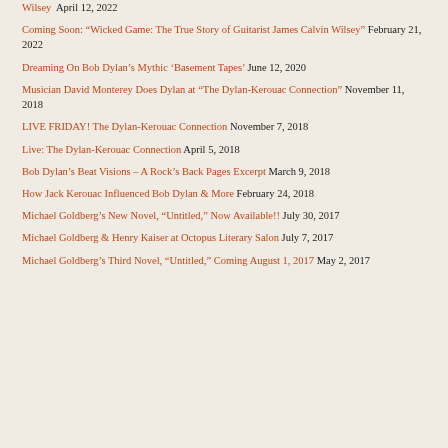Wilsey  April 12, 2022
Coming Soon: “Wicked Game: The True Story of Guitarist James Calvin Wilsey” February 21, 2022
Dreaming On Bob Dylan’s Mythic ‘Basement Tapes’ June 12, 2020
Musician David Monterey Does Dylan at “The Dylan-Kerouac Connection” November 11, 2018
LIVE FRIDAY! The Dylan-Kerouac Connection November 7, 2018
Live: The Dylan-Kerouac Connection April 5, 2018
Bob Dylan’s Beat Visions – A Rock’s Back Pages Excerpt March 9, 2018
How Jack Kerouac Influenced Bob Dylan & More February 24, 2018
Michael Goldberg’s New Novel, “Untitled,” Now Available!! July 30, 2017
Michael Goldberg & Henry Kaiser at Octopus Literary Salon July 7, 2017
Michael Goldberg’s Third Novel, “Untitled,” Coming August 1, 2017 May 2, 2017